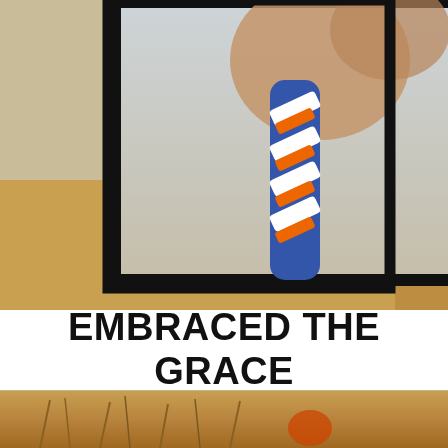[Figure (photo): A person holding a blue, white, and orange braided rope or lanyard against a blurred outdoor background with golden field and sky. The image is framed with a thick black border on three visible sides, set against a warm golden background.]
EMBRACED THE GRACE
[Figure (photo): A warm golden-toned outdoor scene showing dry grass or wheat stalks against a blurred background, with a hint of orange visible.]